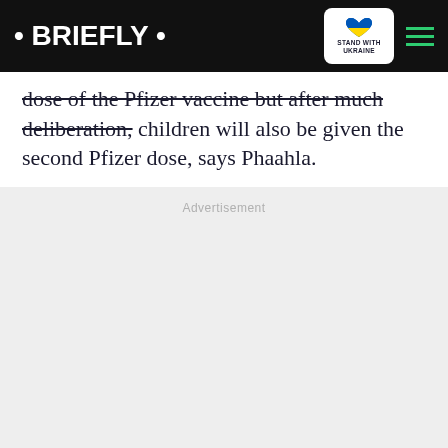• BRIEFLY •
dose of the Pfizer vaccine but after much deliberation, children will also be given the second Pfizer dose, says Phaahla.
Advertisement
There were concerns about the safety of administering both